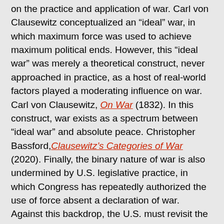on the practice and application of war.  Carl von Clausewitz conceptualized an “ideal” war, in which maximum force was used to achieve maximum political ends.  However, this “ideal war” was merely a theoretical construct, never approached in practice, as a host of real-world factors played a moderating influence on war.  Carl von Clausewitz, On War (1832).  In this construct, war exists as a spectrum between “ideal war” and absolute peace.  Christopher Bassford, Clausewitz’s Categories of War (2020).  Finally, the binary nature of war is also undermined by U.S. legislative practice, in which Congress has repeatedly authorized the use of force absent a declaration of war.  Against this backdrop, the U.S. must revisit the binary construct of war, revising it to reflect a spectrum from armed conflict to peace, leveraging all elements of national power.
1. China at War
China does not view war as limited to armed conflict.  Chinese strategic thought is heavily influenced by ancient military